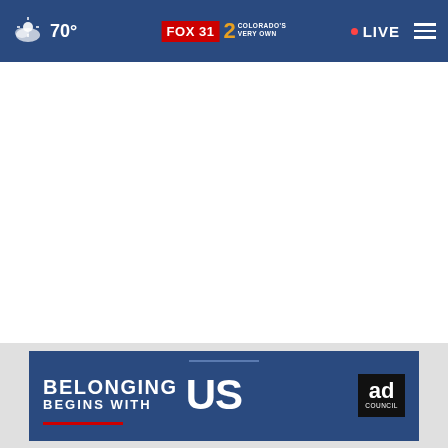70° FOX31 2 COLORADO'S VERY OWN • LIVE
[Figure (photo): Ford logo sign on building exterior, blue background]
Ford to appeal $1.7 billion verdict in Georgia truck …
More Stories ›
[Figure (infographic): Advertisement banner: BELONGING BEGINS WITH US — Ad Council]
BELONGING BEGINS WITH US — Ad Council